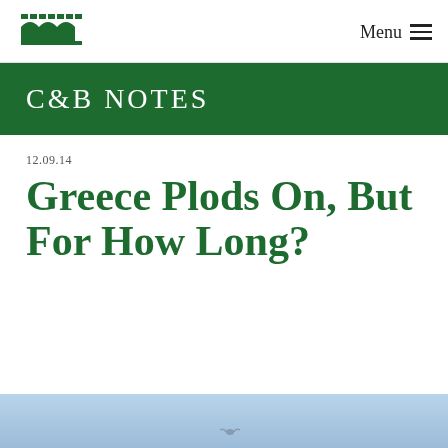C&B Notes — Menu
C&B NOTES
12.09.14
Greece Plods On, But For How Long?
[Figure (photo): Sky/outdoor photo strip at bottom of page]